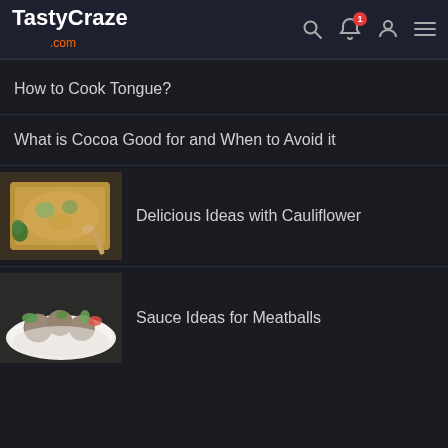TastyCraze.com
How to Cook Tongue?
What is Cocoa Good for and When to Avoid it
Delicious Ideas with Cauliflower
Sauce Ideas for Meatballs